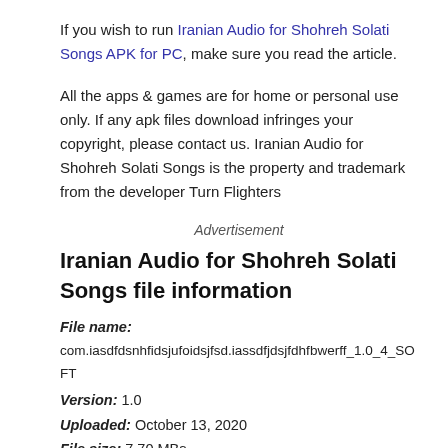If you wish to run Iranian Audio for Shohreh Solati Songs APK for PC, make sure you read the article.
All the apps & games are for home or personal use only. If any apk files download infringes your copyright, please contact us. Iranian Audio for Shohreh Solati Songs is the property and trademark from the developer Turn Flighters
Advertisement
Iranian Audio for Shohreh Solati Songs file information
File name: com.iasdfdsnhfidsjufoidsjfsd.iassdfjdsjfdhfbwerff_1.0_4_SOFT
Version: 1.0
Uploaded: October 13, 2020
File size: 7.70 MBs